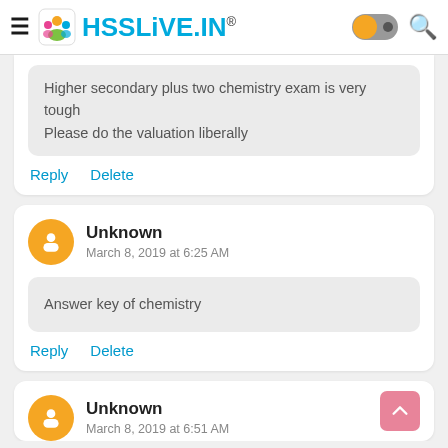HSSLiVE.IN®
Higher secondary plus two chemistry exam is very tough
Please do the valuation liberally
Reply   Delete
Unknown
March 8, 2019 at 6:25 AM
Answer key of chemistry
Reply   Delete
Unknown
March 8, 2019 at 6:51 AM